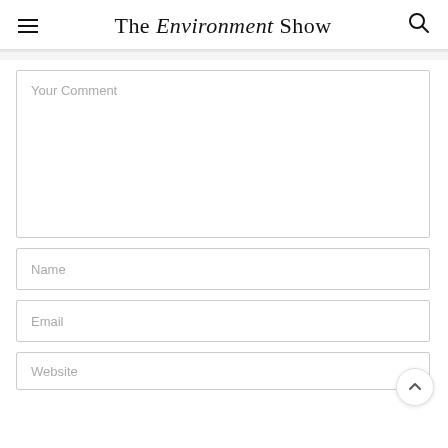The Environment Show
Your Comment
Name
Email
Website